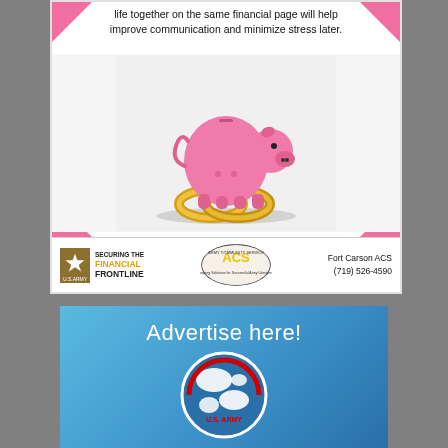[Figure (photo): Pink piggy bank sitting on top of two gold wedding rings against a light gray background, with pink decorative corner triangles. Footer shows U.S. Army 'Securing the Financial Frontline' logo, ACS (Army Community Service) logo, and Fort Carson ACS contact info (719) 526-4590.]
life together on the same financial page will help improve communication and minimize stress later.
Fort Carson ACS
(719) 526-4590
[Figure (infographic): Blue gradient advertisement box reading 'Advertise here!' with a partial U.S. Army globe logo at the bottom.]